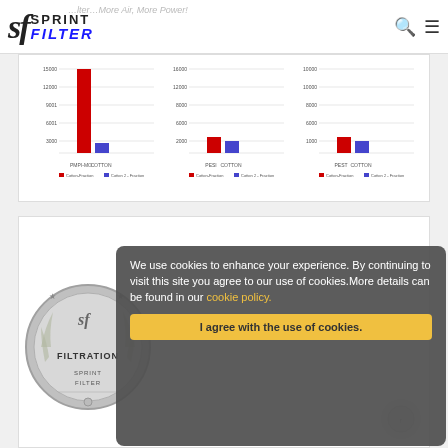Sprint Filter logo header with search and menu icons
[Figure (bar-chart): Three grouped bar charts comparing Cotton Fraction and Cotton 2 Fraction across PMPI-MO, PESI, and PEST filter types. The PMPI-MO chart has a very tall red bar (~15000) and small blue bar, PESI and PEST show shorter red and blue bars near bottom.]
[Figure (illustration): Silver medal badge with 'sf' logo, stars, laurel wreath, and text reading FILTRATION SPRINT FILTER in the center.]
We use cookies to enhance your experience. By continuing to visit this site you agree to our use of cookies.More details can be found in our cookie policy.
I agree with the use of cookies.